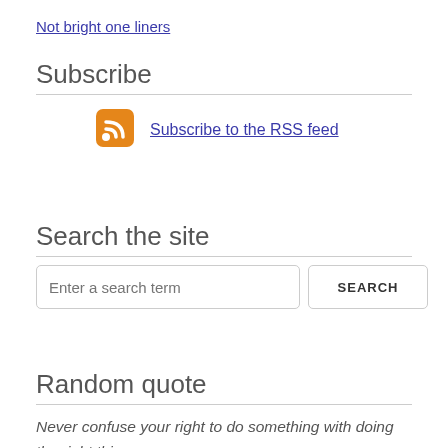Not bright one liners
Subscribe
[Figure (logo): RSS feed orange icon with white signal waves]
Subscribe to the RSS feed
Search the site
Enter a search term
SEARCH
Random quote
Never confuse your right to do something with doing the right thing.